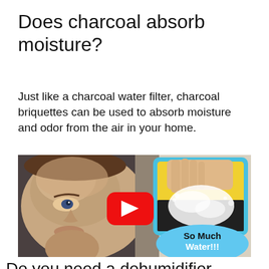Does charcoal absorb moisture?
Just like a charcoal water filter, charcoal briquettes can be used to absorb moisture and odor from the air in your home.
[Figure (screenshot): YouTube video thumbnail showing a child looking at a tablet displaying water being wrung from a sponge. A red YouTube play button is overlaid in the center. A blue oval in the lower right reads 'So Much Water!!!' in bold black and white text.]
Do you need a dehumidifier